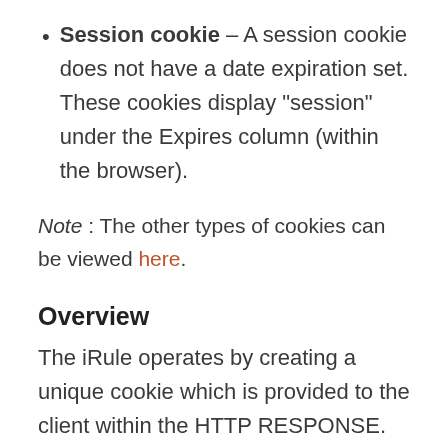Session cookie – A session cookie does not have a date expiration set. These cookies display “session” under the Expires column (within the browser).
Note : The other types of cookies can be viewed here.
Overview
The iRule operates by creating a unique cookie which is provided to the client within the HTTP RESPONSE. This cookie value (UIE key) is also added to a universal persistance record on the F5 which is later referenced for any further